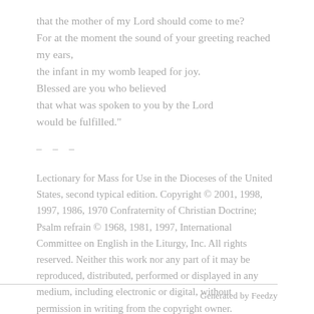that the mother of my Lord should come to me?
For at the moment the sound of your greeting reached my ears,
the infant in my womb leaped for joy.
Blessed are you who believed
that what was spoken to you by the Lord
would be fulfilled."
– – –
Lectionary for Mass for Use in the Dioceses of the United States, second typical edition. Copyright © 2001, 1998, 1997, 1986, 1970 Confraternity of Christian Doctrine; Psalm refrain © 1968, 1981, 1997, International Committee on English in the Liturgy, Inc. All rights reserved. Neither this work nor any part of it may be reproduced, distributed, performed or displayed in any medium, including electronic or digital, without permission in writing from the copyright owner.
Generated by Feedzy